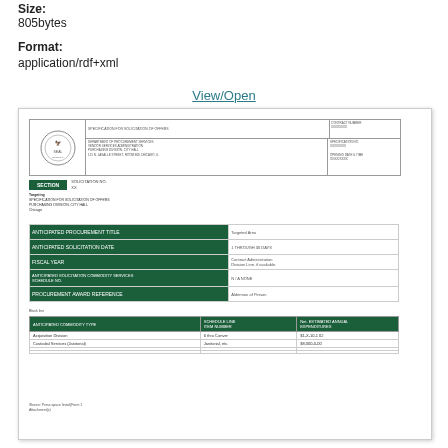Size:
805bytes
Format:
application/rdf+xml
View/Open
[Figure (other): Thumbnail preview of a government document form with green header bars, a logo, form fields, and a data table with rows for Acquisition Division and Construction Contracts.]